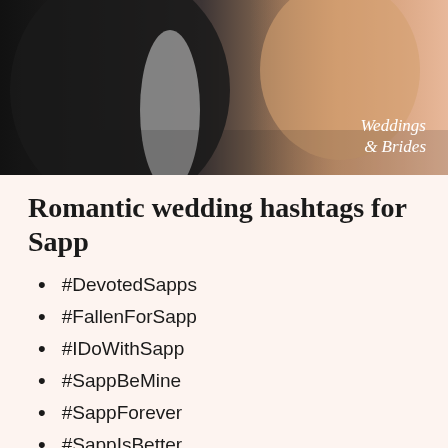[Figure (photo): Wedding photo showing a couple embracing, groom in black suit and bride in light dress, with 'Weddings & Brides' branding text overlay in the lower right corner]
Romantic wedding hashtags for Sapp
#DevotedSapps
#FallenForSapp
#IDoWithSapp
#SappBeMine
#SappForever
#SappIsBetter
#SappsInLove
#NeverLeavingSapp